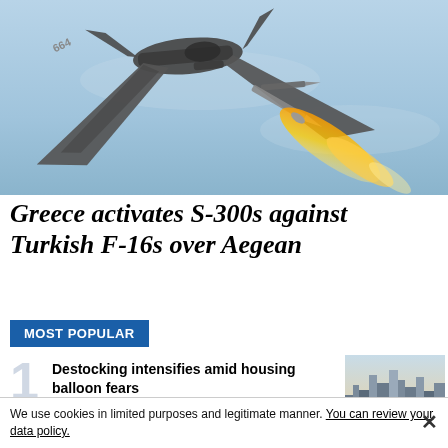[Figure (photo): Military fighter jet (numbered 664) firing a missile against a blue sky background]
Greece activates S-300s against Turkish F-16s over Aegean
MOST POPULAR
1
Destocking intensifies amid housing balloon fears
[Figure (photo): Aerial cityscape photo]
We use cookies in limited purposes and legitimate manner. You can review your data policy.